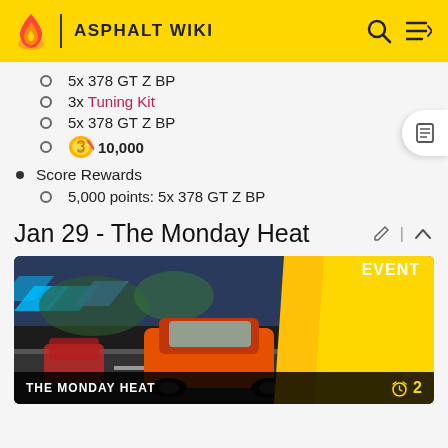ASPHALT WIKI
5x 378 GT Z BP
3x Tuning Kit
5x 378 GT Z BP
10,000
Score Rewards
5,000 points: 5x 378 GT Z BP
Jan 29 - The Monday Heat
[Figure (screenshot): Event card showing a racing game screenshot with an orange sports car on a track. Shows 'EVENT' badge in top right, '23h 59m' timer with clock icon, and 'THE MONDAY HEAT' title with alarm icon and number 2 at the bottom.]